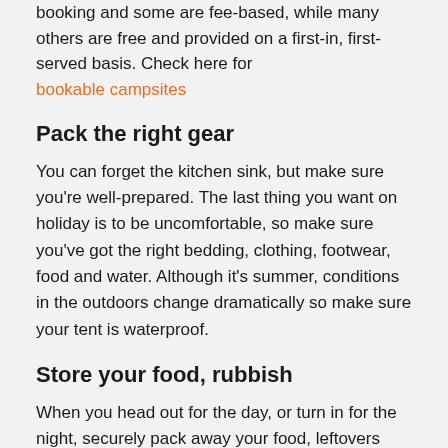booking and some are fee-based, while many others are free and provided on a first-in, first-served basis. Check here for bookable campsites
Pack the right gear
You can forget the kitchen sink, but make sure you're well-prepared. The last thing you want on holiday is to be uncomfortable, so make sure you've got the right bedding, clothing, footwear, food and water. Although it's summer, conditions in the outdoors change dramatically so make sure your tent is waterproof.
Store your food, rubbish
When you head out for the day, or turn in for the night, securely pack away your food, leftovers and rubbish. You don't want to come home after a day's activity to find your dinner has disappeared, or your campsite is strewn with rubbish. Birds and animals can also be harmed by consuming human food.